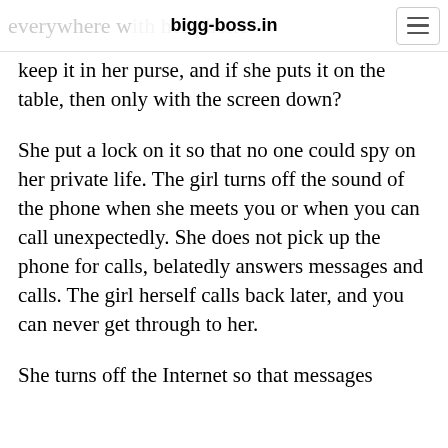bigg-boss.in
keep it in her purse, and if she puts it on the table, then only with the screen down?
She put a lock on it so that no one could spy on her private life. The girl turns off the sound of the phone when she meets you or when you can call unexpectedly. She does not pick up the phone for calls, belatedly answers messages and calls. The girl herself calls back later, and you can never get through to her.
She turns off the Internet so that messages